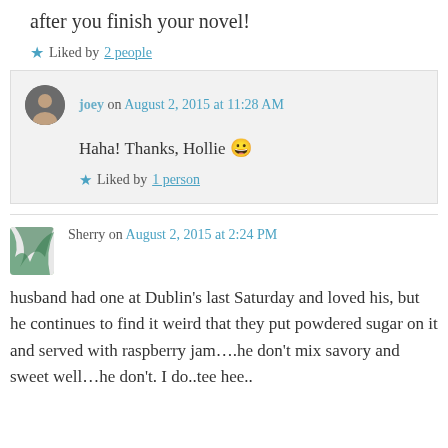after you finish your novel!
★ Liked by 2 people
joey on August 2, 2015 at 11:28 AM
Haha! Thanks, Hollie 😀
★ Liked by 1 person
Sherry on August 2, 2015 at 2:24 PM
husband had one at Dublin's last Saturday and loved his, but he continues to find it weird that they put powdered sugar on it and served with raspberry jam….he don't mix savory and sweet well…he don't. I do..tee hee..